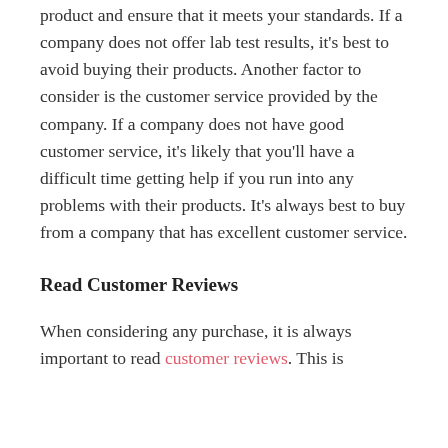product and ensure that it meets your standards. If a company does not offer lab test results, it's best to avoid buying their products. Another factor to consider is the customer service provided by the company. If a company does not have good customer service, it's likely that you'll have a difficult time getting help if you run into any problems with their products. It's always best to buy from a company that has excellent customer service.
Read Customer Reviews
When considering any purchase, it is always important to read customer reviews. This is